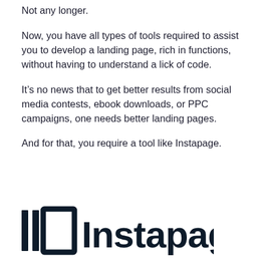Not any longer.
Now, you have all types of tools required to assist you to develop a landing page, rich in functions, without having to understand a lick of code.
It’s no news that to get better results from social media contests, ebook downloads, or PPC campaigns, one needs better landing pages.
And for that, you require a tool like Instapage.
[Figure (logo): Instapage logo — two vertical bars and a square bracket icon in dark navy, followed by the word Instapage in dark navy bold sans-serif]